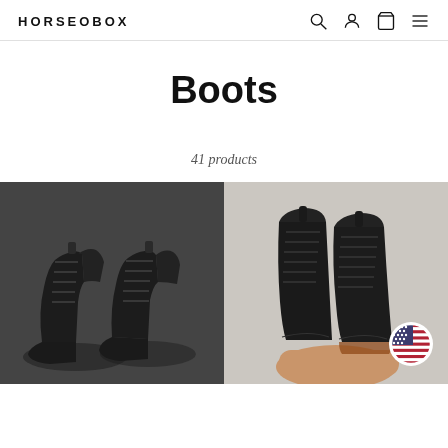HORSEOBOX
Boots
41 products
[Figure (photo): Two black lace-up ankle boots photographed on asphalt, viewed slightly from above and side]
[Figure (photo): Two black wingtip lace-up boots being held by hand, with US flag circular badge overlay in bottom right corner]